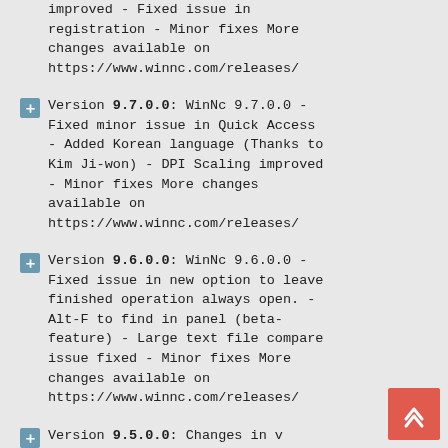improved - Fixed issue in registration - Minor fixes More changes available on https://www.winnc.com/releases/
Version 9.7.0.0: WinNc 9.7.0.0 - Fixed minor issue in Quick Access - Added Korean language (Thanks to Kim Ji-won) - DPI Scaling improved - Minor fixes More changes available on https://www.winnc.com/releases/
Version 9.6.0.0: WinNc 9.6.0.0 - Fixed issue in new option to leave finished operation always open. - Alt-F to find in panel (beta-feature) - Large text file compare issue fixed - Minor fixes More changes available on https://www.winnc.com/releases/
Version 9.5.0.0: Changes in v 9.5.0.0 - 25% Sale discount coupon code: AUTUMN20 - Fixed issue in Quick Access where old tagged folders are not included. - Fixed Quick Access in external locate-map dialog - Fixed issue German transl More changes available on